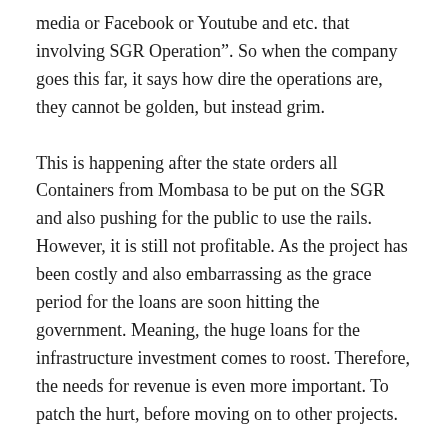media or Facebook or Youtube and etc. that involving SGR Operation”. So when the company goes this far, it says how dire the operations are, they cannot be golden, but instead grim.
This is happening after the state orders all Containers from Mombasa to be put on the SGR and also pushing for the public to use the rails. However, it is still not profitable. As the project has been costly and also embarrassing as the grace period for the loans are soon hitting the government. Meaning, the huge loans for the infrastructure investment comes to roost. Therefore, the needs for revenue is even more important. To patch the hurt, before moving on to other projects.